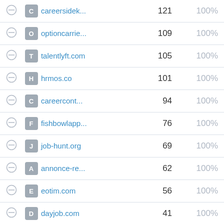|  |  | Domain | Count | Percent |
| --- | --- | --- | --- | --- |
|  | C | careersidek... | 121 | 100% |
|  | O | optioncarrie... | 109 | 100% |
|  | T | talentlyft.com | 105 | 100% |
|  | H | hrmos.co | 101 | 100% |
|  | C | careercont... | 94 | 100% |
|  | F | fishbowlapp... | 76 | 100% |
|  | J | job-hunt.org | 69 | 100% |
|  | A | annonce-re... | 62 | 100% |
|  | E | eotim.com | 56 | 100% |
|  | D | dayjob.com | 41 | 100% |